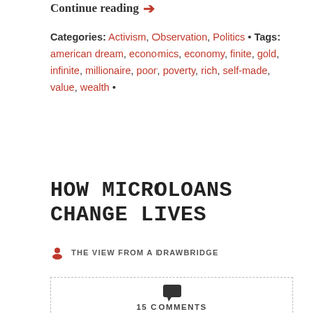Continue reading →
Categories: Activism, Observation, Politics • Tags: american dream, economics, economy, finite, gold, infinite, millionaire, poor, poverty, rich, self-made, value, wealth •
HOW MICROLOANS CHANGE LIVES
THE VIEW FROM A DRAWBRIDGE
15 COMMENTS